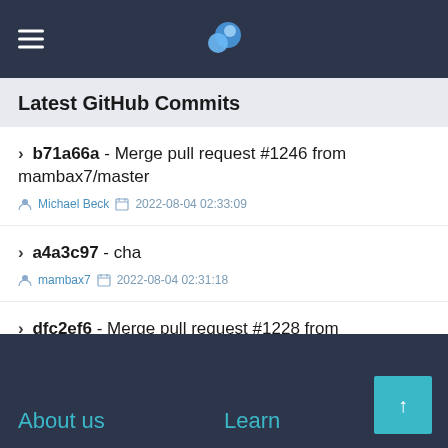Latest GitHub Commits
> b71a66a - Merge pull request #1246 from mambax7/master | Michael Beck | 2022-08-04 02:33:09
> a4a3c97 - cha | mambax7 | 2022-08-04 02:31:18
> dfc2ef6 - Merge pull request #1228 from geekwright/patch_1227 Missi | Richard Griffith | 2022-04-17 20:17:58
About us   Learn